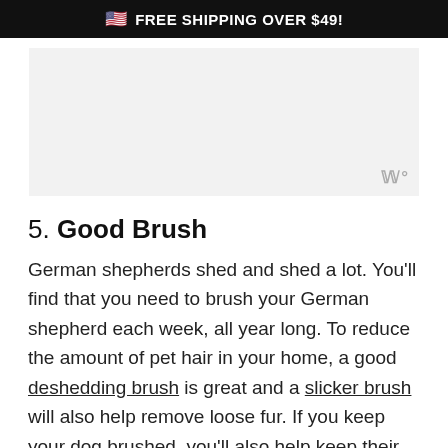🇺🇸 FREE SHIPPING OVER $49!
[Figure (other): Placeholder image area with watermark symbol in bottom right corner]
5. Good Brush
German shepherds shed and shed a lot. You'll find that you need to brush your German shepherd each week, all year long. To reduce the amount of pet hair in your home, a good deshedding brush is great and a slicker brush will also help remove loose fur. If you keep your dog brushed, you'll also help keep their skin and coat healthy so the benefits of a good brush are